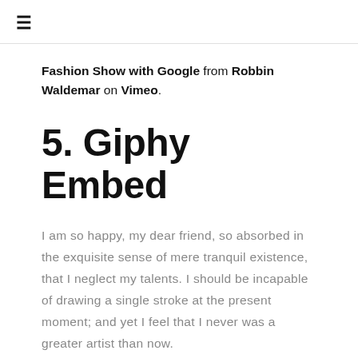≡
Fashion Show with Google from Robbin Waldemar on Vimeo.
5. Giphy Embed
I am so happy, my dear friend, so absorbed in the exquisite sense of mere tranquil existence, that I neglect my talents. I should be incapable of drawing a single stroke at the present moment; and yet I feel that I never was a greater artist than now.
4. Gif